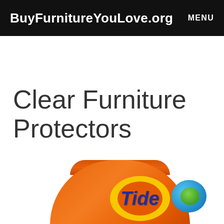BuyFurnitureYouLove.org   MENU
Clear Furniture Protectors
[Figure (photo): Tide PODS laundry detergent orange container shown from the top, with the Tide logo (blue italic text inside a yellow ring on orange background) visible, and a Tide pod (blue and green capsule) partially visible on the right side.]